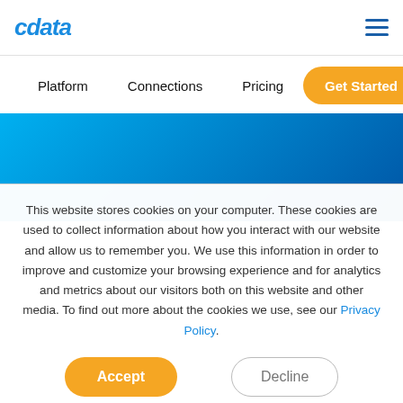cdata
Platform
Connections
Pricing
Get Started →
[Figure (illustration): Blue gradient hero banner spanning full width]
This website stores cookies on your computer. These cookies are used to collect information about how you interact with our website and allow us to remember you. We use this information in order to improve and customize your browsing experience and for analytics and metrics about our visitors both on this website and other media. To find out more about the cookies we use, see our Privacy Policy.
Accept
Decline